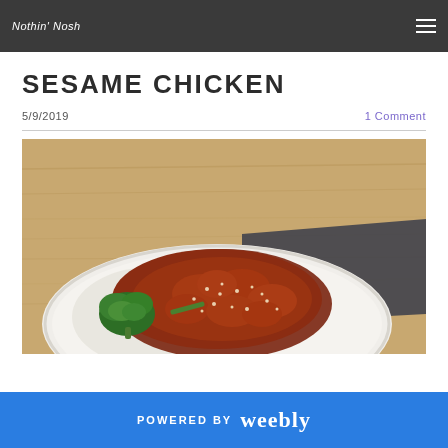Nothin' Nosh | navigation
SESAME CHICKEN
5/9/2019   1 Comment
[Figure (photo): A white plate with sesame chicken coated in dark reddish-brown sauce with sesame seeds, served with white rice and a broccoli floret, on a wooden surface with a dark cloth napkin in the background.]
POWERED BY weebly